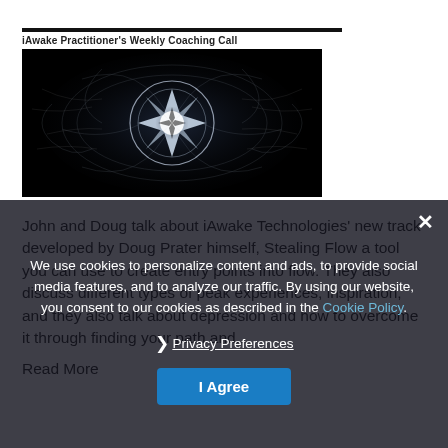[Figure (illustration): Card thumbnail with label 'iAwake Practitioner's Weekly Coaching Call' above a dark mystical fractal/mandala glowing image on black background]
John and Doug talk about iAwake Technologies' new track developed by Doug Prater himself, Stealing Flow a tool you can use to create entry points into flow. They also discuss different types of peak experiences, inspiration, and they also talk about depression and how to overcome it through finding your path and...
Read More